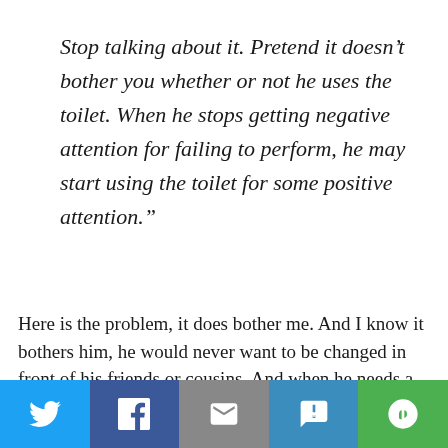Stop talking about it. Pretend it doesn't bother you whether or not he uses the toilet. When he stops getting negative attention for failing to perform, he may start using the toilet for some positive attention.”
Here is the problem, it does bother me. And I know it bothers him, he would never want to be changed in front of his friends or cousins. And when he needs a change, I try to be very
[Figure (infographic): Social share bar with five buttons: Twitter (light blue), Facebook (dark blue), Email (grey), SMS (medium blue), and a circular share icon (green).]